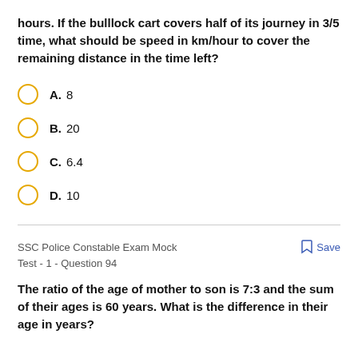hours. If the bulllock cart covers half of its journey in 3/5 time, what should be speed in km/hour to cover the remaining distance in the time left?
A. 8
B. 20
C. 6.4
D. 10
SSC Police Constable Exam Mock Test - 1 - Question 94   Save
The ratio of the age of mother to son is 7:3 and the sum of their ages is 60 years. What is the difference in their age in years?